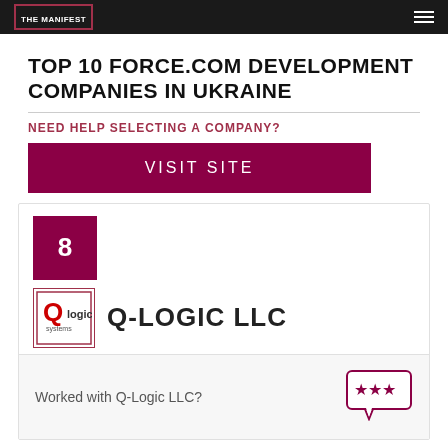THE MANIFEST
TOP 10 FORCE.COM DEVELOPMENT COMPANIES IN UKRAINE
NEED HELP SELECTING A COMPANY?
VISIT SITE
8
[Figure (logo): Q-Logic LLC company logo with red Q and 'logic' text]
Q-LOGIC LLC
Worked with Q-Logic LLC?